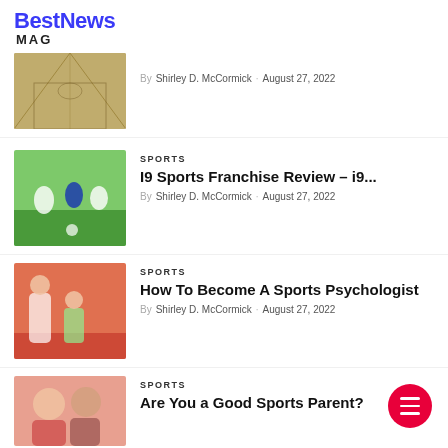BestNews MAG
[Figure (photo): Indoor basketball court viewed from one end, wooden floor with lines visible]
By  Shirley D. McCormick  ·  August 27, 2022
SPORTS
I9 Sports Franchise Review – i9...
By  Shirley D. McCormick  ·  August 27, 2022
[Figure (photo): Kids playing soccer on a field, wearing jerseys]
SPORTS
How To Become A Sports Psychologist
By  Shirley D. McCormick  ·  August 27, 2022
[Figure (photo): Coach helping athlete on a track, sitting on red surface]
SPORTS
Are You a Good Sports Parent?
[Figure (photo): Two women smiling, one in sports attire]